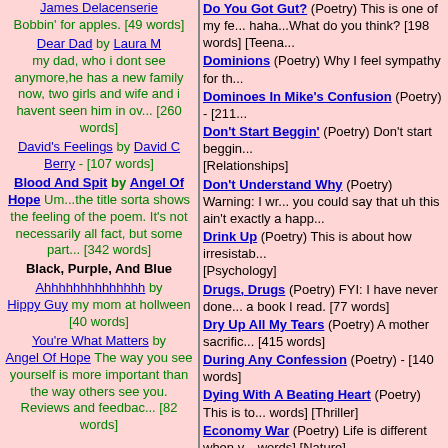James Delacenserie - Bobbin' for apples. [49 words]
Dear Dad by Laura M - my dad, who i dont see anymore,he has a new family now, two girls and wife and i havent seen him in ov... [260 words]
David's Feelings by David C Berry - [107 words]
Blood And Spit by Angel Of Hope - Um...the title sorta shows the feeling of the poem. It's not necessarily all fact, but some part... [342 words]
Black, Purple, And Blue
Ahhhhhhhhhhhhhh by Hippy Guy - my mom at hollween [40 words]
You're What Matters by Angel Of Hope - The way you see yourself is more important than the way others see you. Reviews and feedbac... [82 words]
Do You Got Gut? (Poetry) This is one of my fe... haha...What do you think? [198 words] [Teena...
Dominions (Poetry) Why I feel sympathy for th...
Dominoes In Mike's Confusion (Poetry) - [211...
Don't Start Beggin' (Poetry) Don't start beggin... [Relationships]
Don't Understand Why (Poetry) Warning: I wr... you could say that uh this ain't exactly a happ...
Drink Up (Poetry) This is about how irresistab... [Psychology]
Drugs, Drugs (Poetry) FYI: I have never done... a book I read. [77 words]
Dry Up All My Tears (Poetry) A mother sacrific... [415 words]
During Any Confession (Poetry) - [140 words]
Dying With A Beating Heart (Poetry) This is to... words] [Thriller]
Economy War (Poetry) Life is different when y... words] [Nature]
Egg Shuttle Sista (Poetry) This is dedicated to... small shuttle that could hold an egg with. Rev... [89 words] [Relationships]
End The Dripping (Poetry) Personification [85...
Falling Through Clouds (Poetry) Now I feel n... clouds. [46 words] [Motivational]
Feeling's Unleashed (Poetry) Listen to my "Fe...
Flashin' With Passion (Poetry) Sometimes...